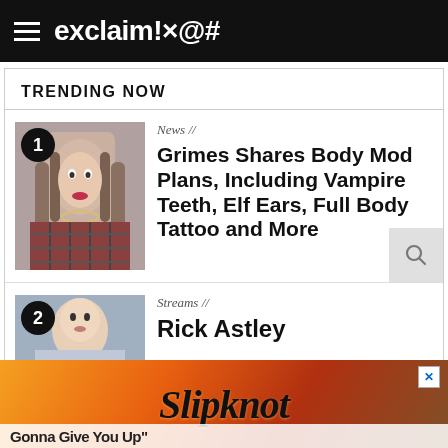exclaim!×@#
TRENDING NOW
1 — News // Grimes Shares Body Mod Plans, Including Vampire Teeth, Elf Ears, Full Body Tattoo and More
2 — Streams // Rick Astley Gonna Give You Up
[Figure (advertisement): Slipknot advertisement banner with orange/fire background]